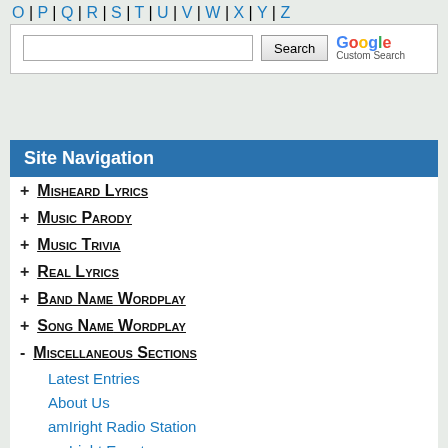O | P | Q | R | S | T | U | V | W | X | Y | Z
[Figure (screenshot): Google Custom Search box with text input field and Search button]
Site Navigation
+ Misheard Lyrics
+ Music Parody
+ Music Trivia
+ Real Lyrics
+ Band Name Wordplay
+ Song Name Wordplay
- Miscellaneous Sections
Latest Entries
About Us
amIright Radio Station
amIright Events
amIright Store
Articles